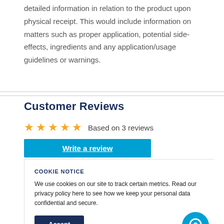detailed information in relation to the product upon physical receipt. This would include information on matters such as proper application, potential side-effects, ingredients and any application/usage guidelines or warnings.
Customer Reviews
★★★★★ Based on 3 reviews
Write a review
COOKIE NOTICE
We use cookies on our site to track certain metrics. Read our privacy policy here to see how we keep your personal data confidential and secure.
Accept